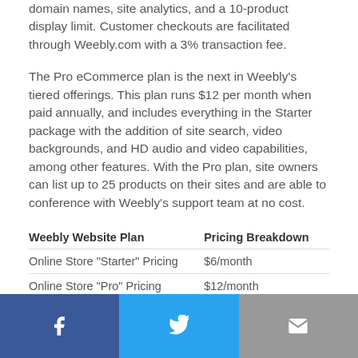domain names, site analytics, and a 10-product display limit. Customer checkouts are facilitated through Weebly.com with a 3% transaction fee.
The Pro eCommerce plan is the next in Weebly's tiered offerings. This plan runs $12 per month when paid annually, and includes everything in the Starter package with the addition of site search, video backgrounds, and HD audio and video capabilities, among other features. With the Pro plan, site owners can list up to 25 products on their sites and are able to conference with Weebly's support team at no cost.
| Weebly Website Plan | Pricing Breakdown |
| --- | --- |
| Online Store "Starter" Pricing | $6/month |
| Online Store "Pro" Pricing | $12/month |